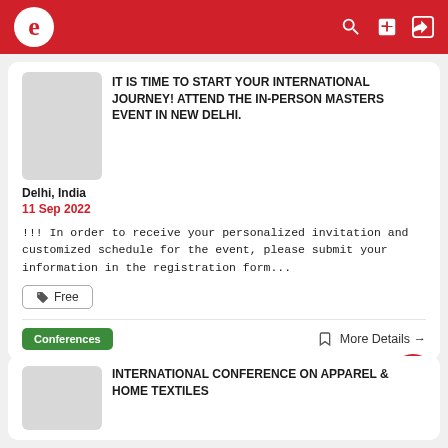e [logo with search, add, login icons]
IT IS TIME TO START YOUR INTERNATIONAL JOURNEY! ATTEND THE IN-PERSON MASTERS EVENT IN NEW DELHI.
Delhi, India
11 Sep 2022
!!! In order to receive your personalized invitation and customized schedule for the event, please submit your information in the registration form...
Free
Conferences  More Details →
INTERNATIONAL CONFERENCE ON APPAREL & HOME TEXTILES